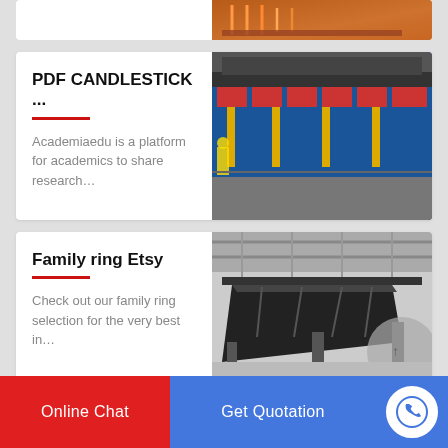[Figure (photo): Partial top card showing industrial machinery with orange/rust colored equipment]
PDF CANDLESTICK ...
Academiaedu is a platform for academics to share research...
[Figure (photo): Industrial blue heavy equipment in factory/workshop setting with worker in yellow helmet]
Family ring Etsy
Check out our family ring selection for the very best in...
[Figure (photo): Industrial conveyor belt machine in factory warehouse setting]
China PF1210 Stone Im...
[Figure (photo): Industrial impact crusher machine, yellow/green colored]
Online Chat
Get Quotation